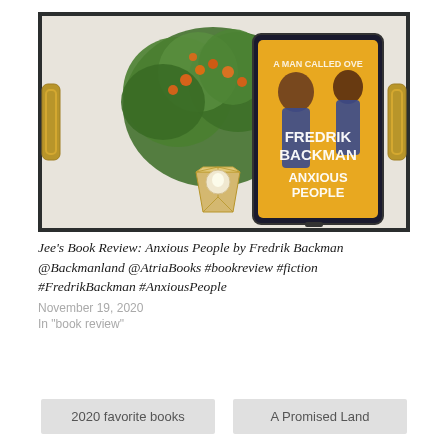[Figure (photo): A tablet displaying the cover of 'Anxious People' by Fredrik Backman (yellow cover) resting on a decorative tray next to a potted plant with orange flowers and a small geometric candle holder. The photo is styled as a flat-lay book review image.]
Jee's Book Review: Anxious People by Fredrik Backman @Backmanland @AtriaBooks #bookreview #fiction #FredrikBackman #AnxiousPeople
November 19, 2020
In "book review"
2020 favorite books
A Promised Land